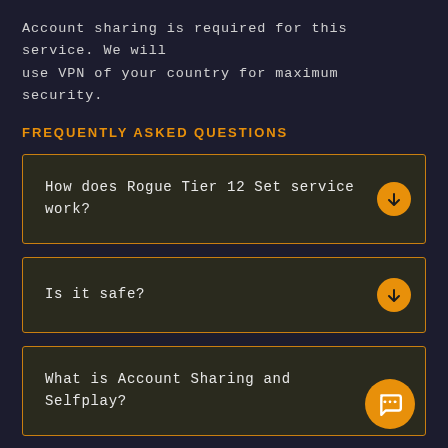Account sharing is required for this service. We will use VPN of your country for maximum security.
FREQUENTLY ASKED QUESTIONS
How does Rogue Tier 12 Set service work?
Is it safe?
What is Account Sharing and Selfplay?